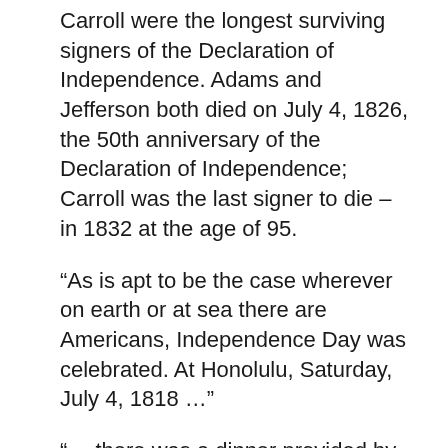Carroll were the longest surviving signers of the Declaration of Independence. Adams and Jefferson both died on July 4, 1826, the 50th anniversary of the Declaration of Independence; Carroll was the last signer to die – in 1832 at the age of 95.
“As is apt to be the case wherever on earth or at sea there are Americans, Independence Day was celebrated. At Honolulu, Saturday, July 4, 1818 …”
“… there was a dinner provided by Mr. Warren, at which were about twenty white men and the principal chief of the island, Bokee. There were a number of appropriate toasts drunk to American Independence. The day and evening were spent in mirth and harmony.” (Hunnewell)